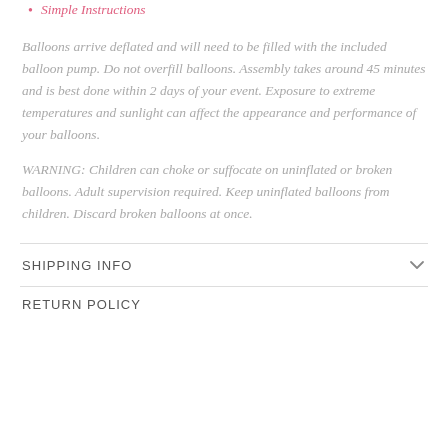Simple Instructions
Balloons arrive deflated and will need to be filled with the included balloon pump. Do not overfill balloons. Assembly takes around 45 minutes and is best done within 2 days of your event. Exposure to extreme temperatures and sunlight can affect the appearance and performance of your balloons.
WARNING: Children can choke or suffocate on uninflated or broken balloons. Adult supervision required. Keep uninflated balloons from children. Discard broken balloons at once.
SHIPPING INFO
RETURN POLICY